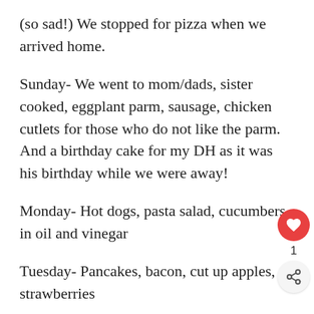(so sad!) We stopped for pizza when we arrived home.
Sunday- We went to mom/dads, sister cooked, eggplant parm, sausage, chicken cutlets for those who do not like the parm. And a birthday cake for my DH as it was his birthday while we were away!
Monday- Hot dogs, pasta salad, cucumbers in oil and vinegar
Tuesday- Pancakes, bacon, cut up apples, strawberries